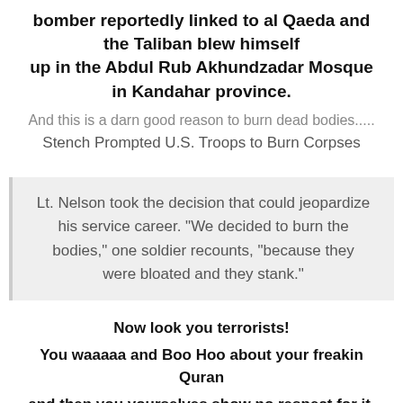bomber reportedly linked to al Qaeda and the Taliban blew himself up in the Abdul Rub Akhundzadar Mosque in Kandahar province.
And this is a darn good reason to burn dead bodies.....
Stench Prompted U.S. Troops to Burn Corpses
Lt. Nelson took the decision that could jeopardize his service career. "We decided to burn the bodies," one soldier recounts, "because they were bloated and they stank."
Now look you terrorists! You waaaaa and Boo Hoo about your freakin Quran and then you yourselves show no respect for it.